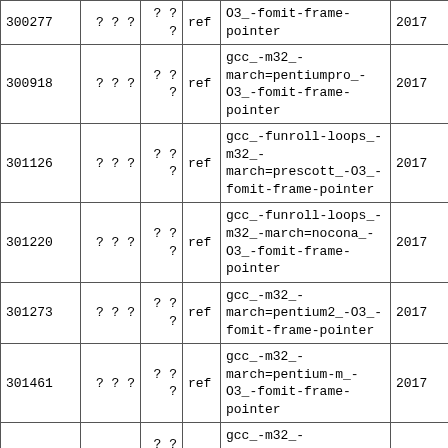| ID | ??? | ?? | ref | compiler flags | year |
| --- | --- | --- | --- | --- | --- |
| 300277 | ? ? ? | ? ?
? | ref | O3_-fomit-frame-pointer | 2017... |
| 300918 | ? ? ? | ? ?
? | ref | gcc_-m32_-march=pentiumpro_-O3_-fomit-frame-pointer | 2017... |
| 301126 | ? ? ? | ? ?
? | ref | gcc_-funroll-loops_-m32_-march=prescott_-O3_-fomit-frame-pointer | 2017... |
| 301220 | ? ? ? | ? ?
? | ref | gcc_-funroll-loops_-m32_-march=nocona_-O3_-fomit-frame-pointer | 2017... |
| 301273 | ? ? ? | ? ?
? | ref | gcc_-m32_-march=pentium2_-O3_-fomit-frame-pointer | 2017... |
| 301461 | ? ? ? | ? ?
? | ref | gcc_-m32_-march=pentium-m_-O3_-fomit-frame-pointer | 2017... |
| 301600 | ? ? ? | ? ?
? | ref | gcc_-m32_-march=pentium3_-O3_-fomit-frame-pointer | 2017... |